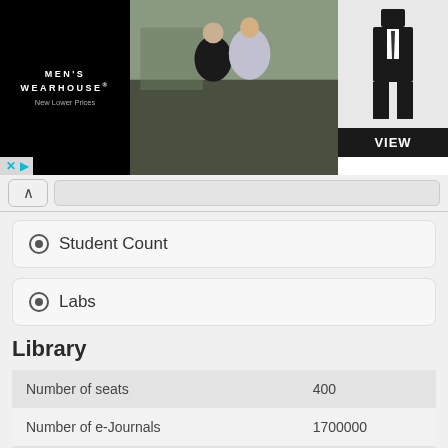[Figure (photo): Men's Wearhouse advertisement banner showing a couple in formal wear and a man in a tuxedo with a VIEW button]
Student Count
Labs
Library
|  |  |
| --- | --- |
| Number of seats | 400 |
| Number of e-Journals | 1700000 |
| Is internet available? | AVAILABLE |
| Are there computers in library? | Ye... |